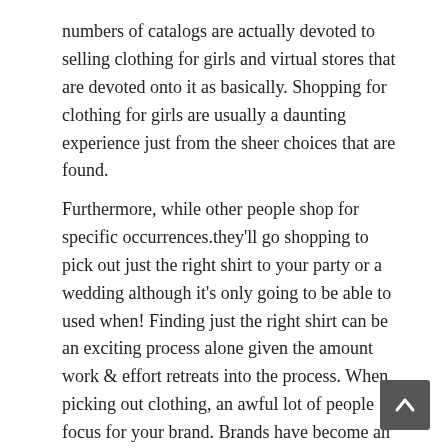numbers of catalogs are actually devoted to selling clothing for girls and virtual stores that are devoted onto it as basically. Shopping for clothing for girls are usually a daunting experience just from the sheer choices that are found.
Furthermore, while other people shop for specific occurrences.they'll go shopping to pick out just the right shirt to your party or a wedding although it's only going to be able to used when! Finding just the right shirt can be an exciting process alone given the amount work & effort retreats into the process. When picking out clothing, an awful lot of people focus for your brand. Brands have become an excellent way of separating the wheat through the chaff, given how much retail selection exists.